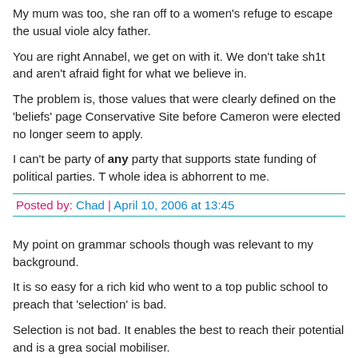My mum was too, she ran off to a women's refuge to escape the usual viole... alcy father.
You are right Annabel, we get on with it. We don't take sh1t and aren't afraid... fight for what we believe in.
The problem is, those values that were clearly defined on the 'beliefs' page... Conservative Site before Cameron were elected no longer seem to apply.
I can't be party of any party that supports state funding of political parties. T... whole idea is abhorrent to me.
Posted by: Chad | April 10, 2006 at 13:45
My point on grammar schools though was relevant to my background.
It is so easy for a rich kid who went to a top public school to preach that 'selection' is bad.
Selection is not bad. It enables the best to reach their potential and is a grea... social mobiliser.
That is what conservatism means to me.
Posted by: Chad | April 10, 2006 at 13:51